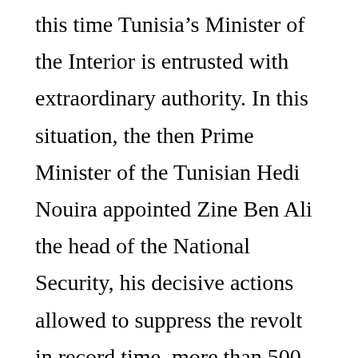this time Tunisia's Minister of the Interior is entrusted with extraordinary authority. In this situation, the then Prime Minister of the Tunisian Hedi Nouira appointed Zine Ben Ali the head of the National Security, his decisive actions allowed to suppress the revolt in record time, more than 500 people were convicted, and the state of emergency was canceled in less then a month. However, some 46 civilians were killed and over 325 injured during this time.